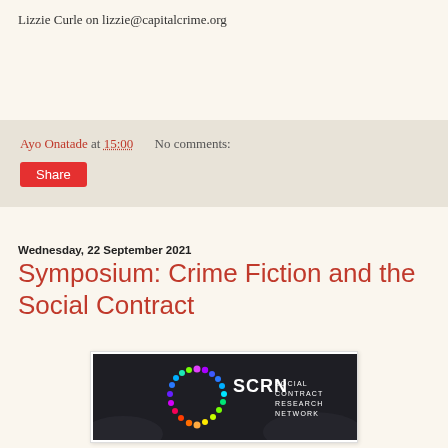Lizzie Curle on lizzie@capitalcrime.org
Ayo Onatade at 15:00   No comments:
Share
Wednesday, 22 September 2021
Symposium: Crime Fiction and the Social Contract
[Figure (logo): SCRN Social Contract Research Network logo on dark background with multicolored circular arrangement of dots]